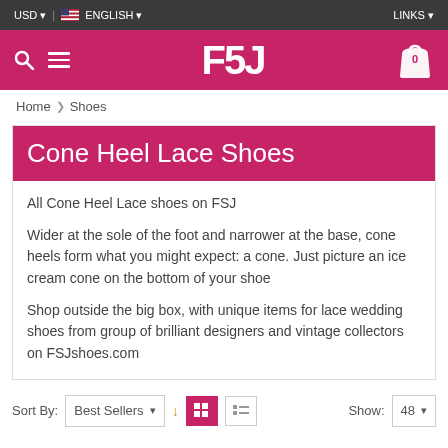USD | ENGLISH | LINKS
[Figure (logo): FSJ logo in white text on pink/crimson background with search icon, hamburger menu, and cart icon]
Home > Shoes
Cone Heel Lace Shoes
All Cone Heel Lace shoes on FSJ

Wider at the sole of the foot and narrower at the base, cone heels form what you might expect: a cone. Just picture an ice cream cone on the bottom of your shoe

Shop outside the big box, with unique items for lace wedding shoes from group of brilliant designers and vintage collectors on FSJshoes.com
Sort By: Best Sellers ↓ Show: 48